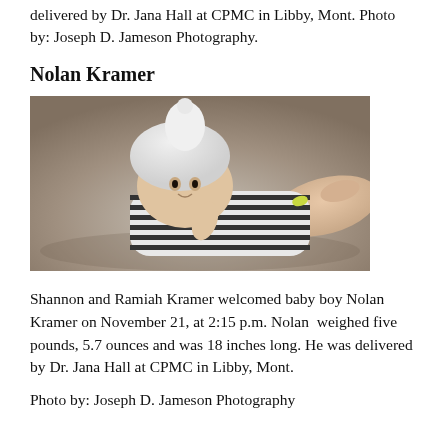delivered by Dr. Jana Hall at CPMC in Libby, Mont. Photo by: Joseph D. Jameson Photography.
Nolan Kramer
[Figure (photo): Newborn baby Nolan Kramer lying on a surface wearing a white knit hat and black and white striped outfit, with an adult hand supporting the baby. Hospital identification bracelet visible on wrist.]
Shannon and Ramiah Kramer welcomed baby boy Nolan Kramer on November 21, at 2:15 p.m. Nolan  weighed five pounds, 5.7 ounces and was 18 inches long. He was delivered by Dr. Jana Hall at CPMC in Libby, Mont.
Photo by: Joseph D. Jameson Photography